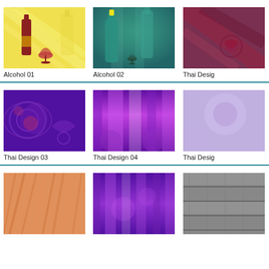[Figure (illustration): Alcohol 01 thumbnail – yellow background with wine bottle and glass]
Alcohol 01
[Figure (illustration): Alcohol 02 thumbnail – teal/green background with green bottles]
Alcohol 02
[Figure (illustration): Thai Design thumbnail – dark red/purple diagonal stripes with floral motif (partially visible)]
Thai Desig
[Figure (illustration): Thai Design 03 thumbnail – dark purple background with decorative scroll/floral pattern]
Thai Design 03
[Figure (illustration): Thai Design 04 thumbnail – purple and magenta fabric/curtain texture]
Thai Design 04
[Figure (illustration): Thai Design 05 thumbnail – light lavender/purple with circular motif (partially visible)]
Thai Desig
[Figure (illustration): Orange wood grain texture thumbnail]
[Figure (illustration): Purple curtain/bokeh texture thumbnail]
[Figure (illustration): Gray wood texture thumbnail (partially visible)]